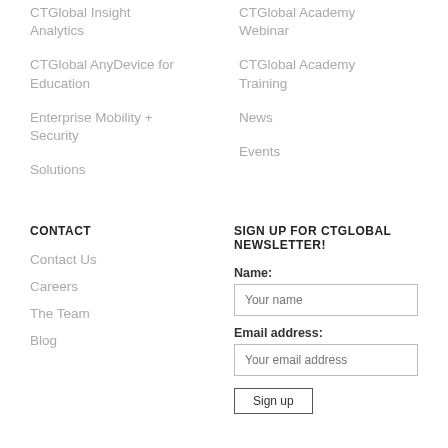CTGlobal Insight Analytics
CTGlobal Academy Webinar
CTGlobal AnyDevice for Education
CTGlobal Academy Training
Enterprise Mobility + Security
News
Events
Solutions
CONTACT
SIGN UP FOR CTGLOBAL NEWSLETTER!
Contact Us
Careers
The Team
Blog
Name:
Your name
Email address:
Your email address
Sign up